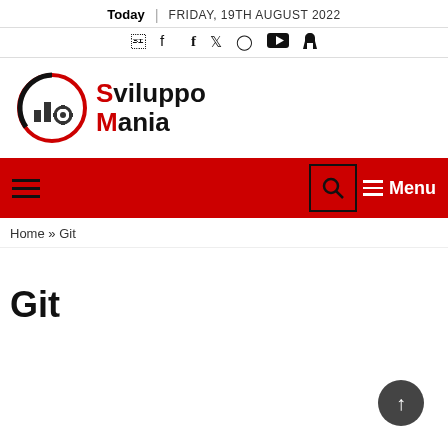Today | FRIDAY, 19TH AUGUST 2022
[Figure (illustration): Social media icons: Facebook, Twitter, Instagram, YouTube, RSS]
[Figure (logo): SviluppoMania logo with gear and bar chart icon in red circle]
[Figure (other): Red navigation bar with hamburger menu on left, search icon and Menu label on right]
Home » Git
Git